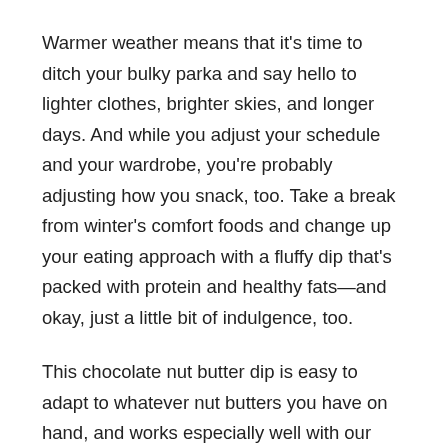Warmer weather means that it's time to ditch your bulky parka and say hello to lighter clothes, brighter skies, and longer days. And while you adjust your schedule and your wardrobe, you're probably adjusting how you snack, too. Take a break from winter's comfort foods and change up your eating approach with a fluffy dip that's packed with protein and healthy fats—and okay, just a little bit of indulgence, too.
This chocolate nut butter dip is easy to adapt to whatever nut butters you have on hand, and works especially well with our own innovative line of nut butters. Pair it with fresh fruit, unsalted pretzel sticks, or whole grain graham crackers for the perfect afternoon